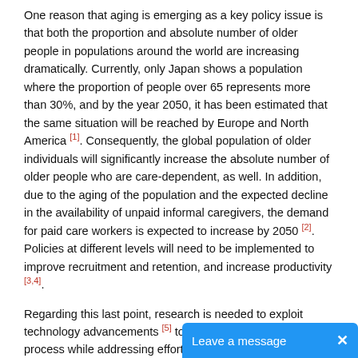One reason that aging is emerging as a key policy issue is that both the proportion and absolute number of older people in populations around the world are increasing dramatically. Currently, only Japan shows a population where the proportion of people over 65 represents more than 30%, and by the year 2050, it has been estimated that the same situation will be reached by Europe and North America [1]. Consequently, the global population of older individuals will significantly increase the absolute number of older people who are care-dependent, as well. In addition, due to the aging of the population and the expected decline in the availability of unpaid informal caregivers, the demand for paid care workers is expected to increase by 2050 [2]. Policies at different levels will need to be implemented to improve recruitment and retention, and increase productivity [3,4].
Regarding this last point, research is needed to exploit technology advancements [5] to foster the active aging process while addressing efforts to prevent age-related issues, and also searching for solutions to support caregiving activities. Some exa...